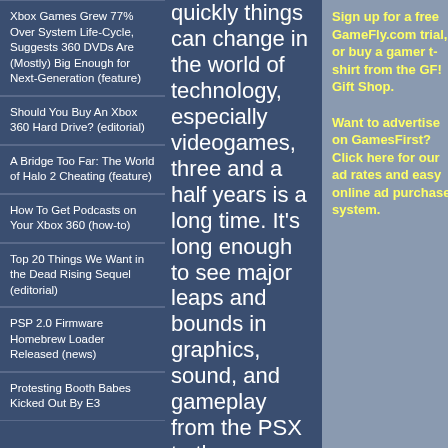Xbox Games Grew 77% Over System Life-Cycle, Suggests 360 DVDs Are (Mostly) Big Enough for Next-Generation (feature)
Should You Buy An Xbox 360 Hard Drive? (editorial)
A Bridge Too Far: The World of Halo 2 Cheating (feature)
How To Get Podcasts on Your Xbox 360 (how-to)
Top 20 Things We Want in the Dead Rising Sequel (editorial)
PSP 2.0 Firmware Homebrew Loader Released (news)
Protesting Booth Babes Kicked Out By E3
quickly things can change in the world of technology, especially videogames, three and a half years is a long time. It's long enough to see major leaps and bounds in graphics, sound, and gameplay from the PSX to the Dreamcast, and from the
Sign up for a free GameFly.com trial, or buy a gamer t-shirt from the GF! Gift Shop.

Want to advertise on GamesFirst? Click here for our ad rates and easy online ad purchase system.